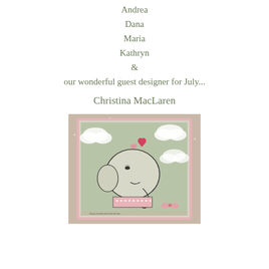Andrea
Dana
Maria
Kathryn
&
our wonderful guest designer for July...
Christina MacLaren
[Figure (photo): A handmade greeting card featuring a cute illustrated elephant standing on a circus platform with pink trim, surrounded by fluffy clouds and pink hearts on a soft green background. The card has a pink border and a pink ribbon bow at the bottom right. Partially visible text at the bottom reads 'Always remember, that when the time...' and 'and the...']